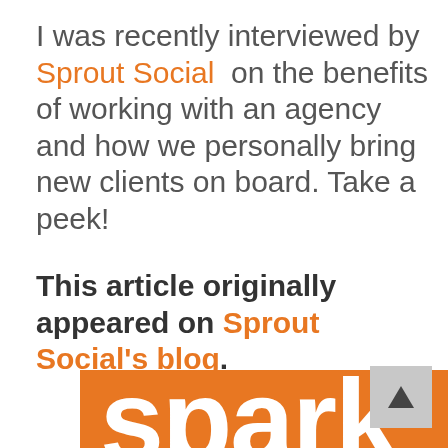I was recently interviewed by Sprout Social on the benefits of working with an agency and how we personally bring new clients on board. Take a peek!
This article originally appeared on Sprout Social's blog.
[Figure (logo): Spark logo — orange rounded rectangle background with white lowercase text 'spark' partially visible, cropped at bottom of page]